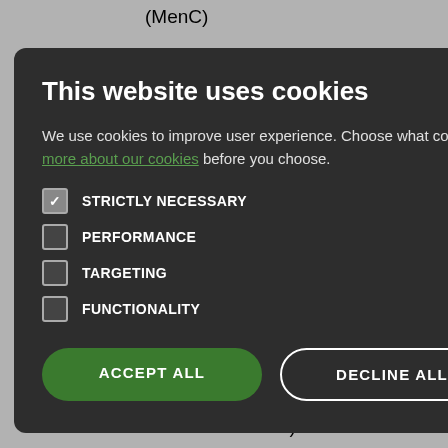| Disease | Vaccine | How given |
| --- | --- | --- |
| (MenC) |  |  |
| Rotavirus | Rotavirus (Rotarix) | By mout… |
| Diphtheria, tetanus, | DTaP/IPV/Hib | Thigh |
|  | (…nar 13) | Thigh |
|  |  | Upper arm/thig… |
|  | (…nar 13) | Upper arm/thig… |
|  | (…rix or …RO) | Upper arm/thig… |
| …measles) |  |  |
[Figure (screenshot): Cookie consent modal dialog with dark background. Title: 'This website uses cookies'. Body text: 'We use cookies to improve user experience. Choose what cookies you allow us to use. You can read more about our cookies before you choose.' Checkboxes: STRICTLY NECESSARY (checked), PERFORMANCE (unchecked), TARGETING (unchecked), FUNCTIONALITY (unchecked). Two buttons: ACCEPT ALL (green filled) and DECLINE ALL (outline).]